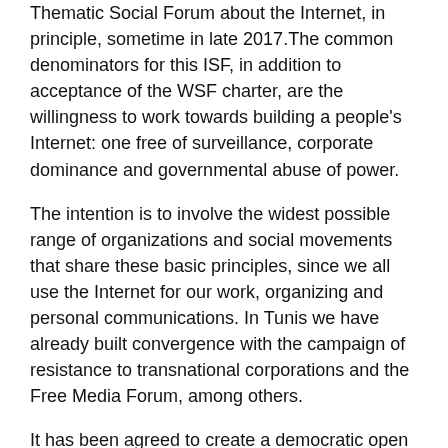Thematic Social Forum about the Internet, in principle, sometime in late 2017.The common denominators for this ISF, in addition to acceptance of the WSF charter, are the willingness to work towards building a people's Internet: one free of surveillance, corporate dominance and governmental abuse of power.
The intention is to involve the widest possible range of organizations and social movements that share these basic principles, since we all use the Internet for our work, organizing and personal communications. In Tunis we have already built convergence with the campaign of resistance to transnational corporations and the Free Media Forum, among others.
It has been agreed to create a democratic open space for organizing the forum; an interim organising committee will come present a proposal over the next 2 months for defining the venue, date, coordination mechanisms, etc."
Members of the coordination group:
1. Mallory Knodel, Association for Progressive Communications